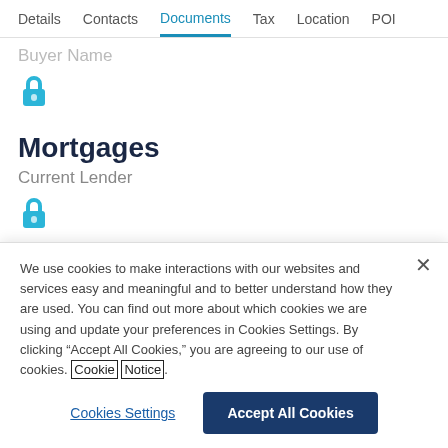Details  Contacts  Documents  Tax  Location  POI
Buyer Name
Mortgages
Current Lender
We use cookies to make interactions with our websites and services easy and meaningful and to better understand how they are used. You can find out more about which cookies we are using and update your preferences in Cookies Settings. By clicking “Accept All Cookies,” you are agreeing to our use of cookies. Cookie Notice
Cookies Settings
Accept All Cookies